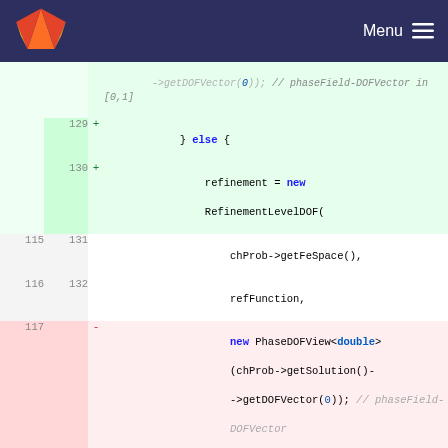GitLab Menu
[Figure (screenshot): Code diff view showing changes to C++ source code involving RefinementLevelDOF and PhaseDOFView<double> constructor calls, with added and removed lines highlighted in green and red respectively.]